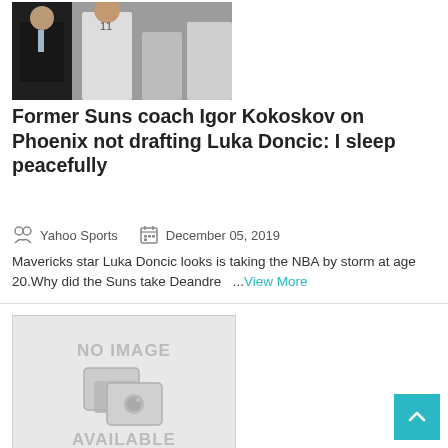[Figure (photo): Photo of a basketball coach and player, appears to be on the bench/sideline. Player wearing jersey number 11.]
Former Suns coach Igor Kokoskov on Phoenix not drafting Luka Doncic: I sleep peacefully
Yahoo Sports   December 05, 2019
Mavericks star Luka Doncic looks is taking the NBA by storm at age 20.Why did the Suns take Deandre  ...View More
[Figure (photo): No image available placeholder with camera icon]